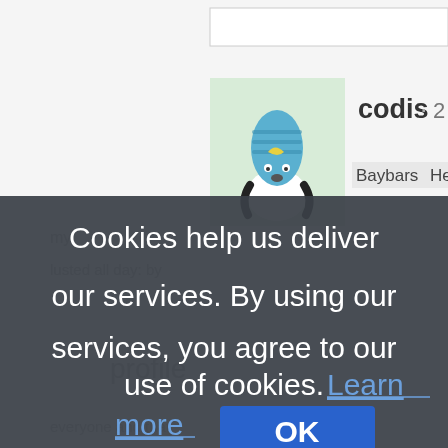[Figure (screenshot): Screenshot of a web page showing a user avatar with a cartoon character (blue hat figure) on a light green background, username 'codis · 2 mor' and 'Baybars Here a' partially visible, with a cookie consent overlay in dark grey background covering the lower portion of the page.]
Cookies help us deliver our services. By using our services, you agree to our use of cookies. Learn more
OK